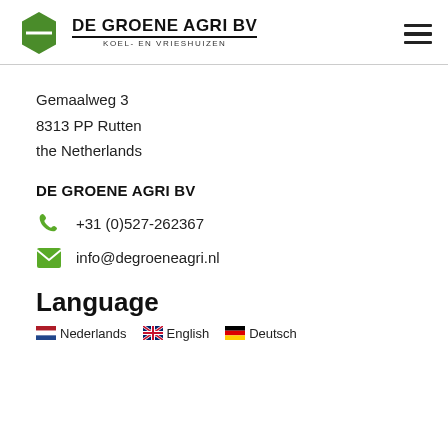[Figure (logo): De Groene Agri BV logo with green hexagon shape and company name text]
Gemaalweg 3
8313 PP Rutten
the Netherlands
DE GROENE AGRI BV
+31 (0)527-262367
info@degroeneagri.nl
Language
Nederlands English Deutsch